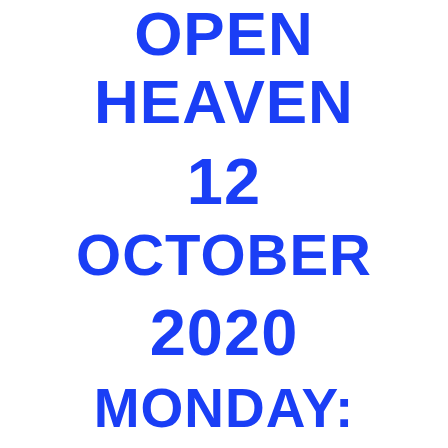OPEN HEAVEN 12 OCTOBER 2020 MONDAY: GOD
GOD